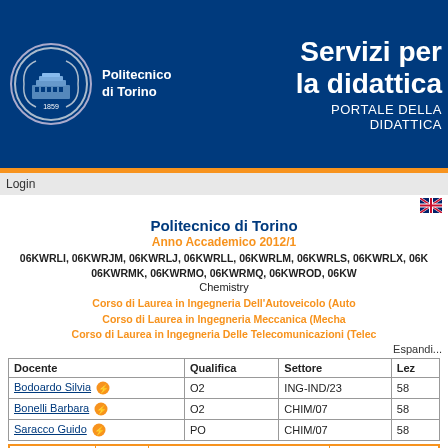[Figure (logo): Politecnico di Torino logo with university seal/crest in circular frame]
Servizi per la didattica PORTALE DELLA DIDATTICA
Login
Politecnico di Torino
Anno Accademico 2012/1
06KWRLI, 06KWRJM, 06KWRLJ, 06KWRLL, 06KWRLM, 06KWRLS, 06KWRLX, 06K 06KWRMK, 06KWRMO, 06KWRMQ, 06KWROD, 06KW
Chemistry
Corso di Laurea in Ingegneria Dell'Autoveicolo (Auto Corso di Laurea in Ingegneria Meccanica (Mecha Corso di Laurea in Ingegneria Delle Telecomunicazioni (Telec
Espandi...
| Docente | Qualifica | Settore | Lez |
| --- | --- | --- | --- |
| Bodoardo Silvia | O2 | ING-IND/23 | 58 |
| Bonelli Barbara | O2 | CHIM/07 | 58 |
| Saracco Guido | PO | CHIM/07 | 58 |
| SSD | CFU | Attivita' formative | Ambiti dis |
| --- | --- | --- | --- |
| CHIM/07 | 8 | C - Affini o integrative | Attività forr |